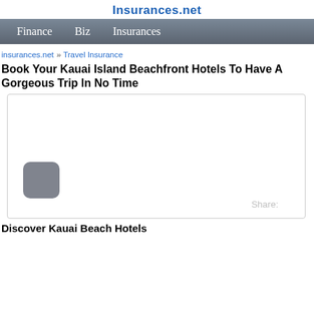Insurances.net
Finance   Biz   Insurances
insurances.net » Travel Insurance
Book Your Kauai Island Beachfront Hotels To Have A Gorgeous Trip In No Time
[Figure (screenshot): White content box with a play/media button icon at bottom left and a Share: label at bottom right]
Discover Kauai Beach Hotels